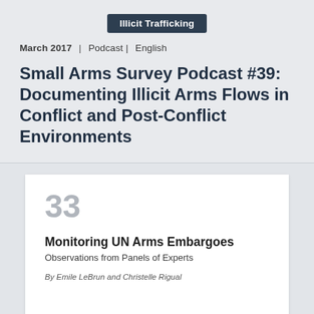Illicit Trafficking
March 2017  |  Podcast |  English
Small Arms Survey Podcast #39: Documenting Illicit Arms Flows in Conflict and Post-Conflict Environments
33
Monitoring UN Arms Embargoes
Observations from Panels of Experts
By Emile LeBrun and Christelle Rigual